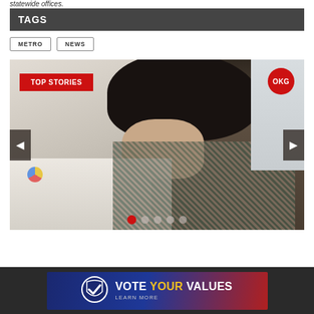statewide offices.
TAGS
METRO
NEWS
[Figure (photo): Woman with curly hair smiling and writing at a desk with papers, overlaid with TOP STORIES banner and OKG circle logo, navigation arrows and dot indicators for an image carousel]
[Figure (infographic): Vote Your Values banner advertisement with shield/checkmark logo on dark navy-to-red gradient background, text reads VOTE YOUR VALUES LEARN MORE]